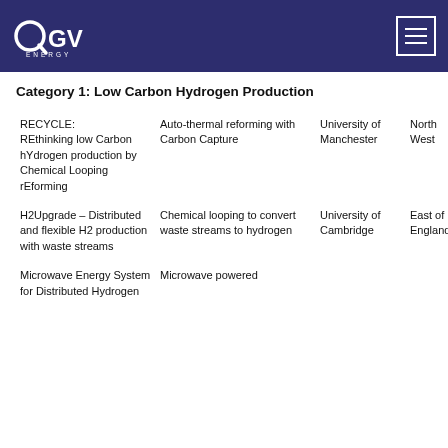OGV ENERGY
Category 1: Low Carbon Hydrogen Production
| Project | Technology | Institution | Region |
| --- | --- | --- | --- |
| RECYCLE: REthinking low Carbon hYdrogen production by Chemical Looping rEforming | Auto-thermal reforming with Carbon Capture | University of Manchester | North West |
| H2Upgrade – Distributed and flexible H2 production with waste streams | Chemical looping to convert waste streams to hydrogen | University of Cambridge | East of England |
| Microwave Energy System for Distributed Hydrogen | Microwave powered |  |  |